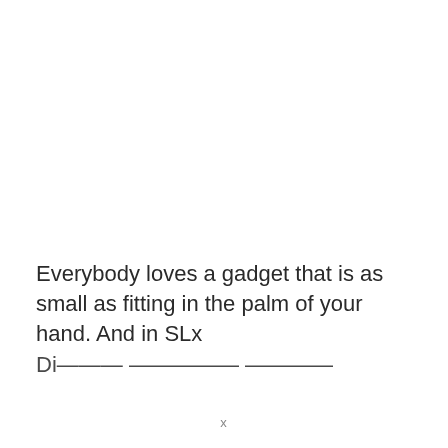Everybody loves a gadget that is as small as fitting in the palm of your hand. And in SLx Di...
x